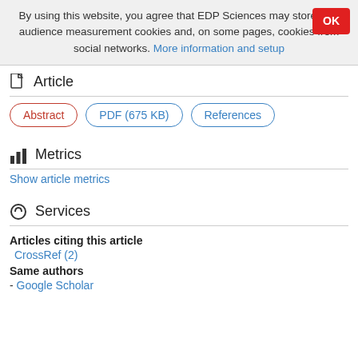By using this website, you agree that EDP Sciences may store web audience measurement cookies and, on some pages, cookies from social networks. More information and setup
Article
Abstract | PDF (675 KB) | References
Metrics
Show article metrics
Services
Articles citing this article
CrossRef (2)
Same authors
- Google Scholar